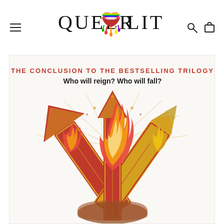QUEER LIT — website header with logo, menu icon, search icon, and cart icon
[Figure (illustration): Book cover illustration showing three crossed arrows with flames bursting from their tips, on a light background. Text at top reads 'THE CONCLUSION TO THE BESTSELLING TRILOGY' in red/orange, and 'Who will reign? Who will fall?' in dark text below it.]